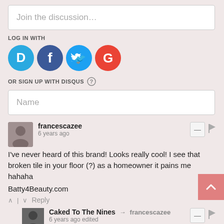Join the discussion…
LOG IN WITH
[Figure (infographic): Four social login icons: Disqus (blue circle with D), Facebook (dark blue circle with f), Twitter (light blue circle with bird), Google (red circle with G)]
OR SIGN UP WITH DISQUS ?
Name
francescazee
6 years ago
I've never heard of this brand! Looks really cool! I see that broken tile in your floor (?) as a homeowner it pains me hahaha
Batty4Beauty.com
^ | v Reply
Caked To The Nines → francescazee
6 years ago edited